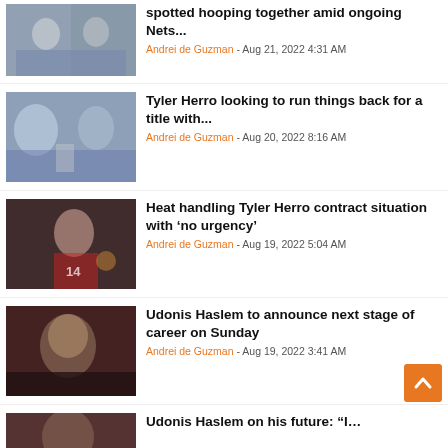[Figure (photo): Two basketball players in Brooklyn Nets jerseys]
spotted hooping together amid ongoing Nets...
Andrei de Guzman - Aug 21, 2022 4:31 AM
[Figure (photo): Press conference with coach and player at microphone]
Tyler Herro looking to run things back for a title with...
Andrei de Guzman - Aug 20, 2022 8:16 AM
[Figure (photo): Tyler Herro number 14 in Miami Heat uniform dribbling]
Heat handling Tyler Herro contract situation with ‘no urgency’
Andrei de Guzman - Aug 19, 2022 5:04 AM
[Figure (photo): Udonis Haslem portrait photo]
Udonis Haslem to announce next stage of career on Sunday
Andrei de Guzman - Aug 19, 2022 3:41 AM
[Figure (photo): Partial photo of a person]
Udonis Haslem on his future: “I…